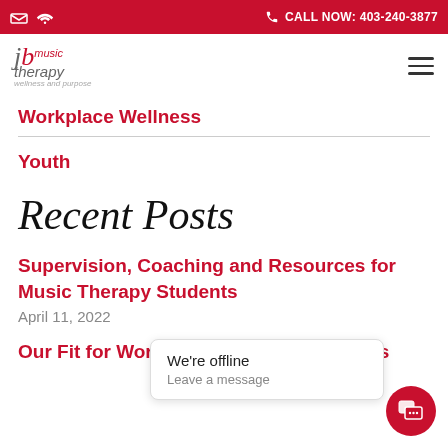CALL NOW: 403-240-3877
[Figure (logo): JB Music Therapy logo with text 'jb music therapy wellness and purpose']
Workplace Wellness
Youth
Recent Posts
Supervision, Coaching and Resources for Music Therapy Students
April 11, 2022
Our Fit for Work Policies and Procedures
We're offline
Leave a message